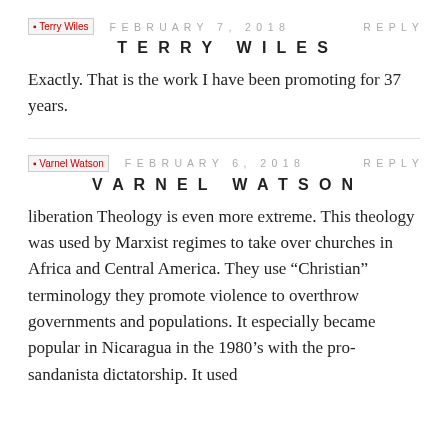[Figure (other): Avatar image placeholder for Terry Wiles]
FEBRUARY 7, 2018
REPLY
TERRY WILES
Exactly. That is the work I have been promoting for 37 years.
[Figure (other): Avatar image placeholder for Varnel Watson]
FEBRUARY 6, 2018
REPLY
VARNEL WATSON
liberation Theology is even more extreme. This theology was used by Marxist regimes to take over churches in Africa and Central America. They use “Christian” terminology they promote violence to overthrow governments and populations. It especially became popular in Nicaragua in the 1980’s with the pro-sandanista dictatorship. It used